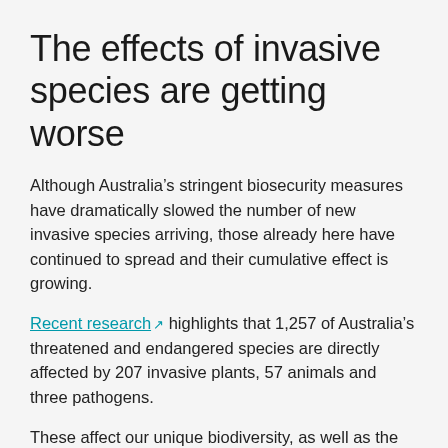The effects of invasive species are getting worse
Although Australia’s stringent biosecurity measures have dramatically slowed the number of new invasive species arriving, those already here have continued to spread and their cumulative effect is growing.
Recent research highlights that 1,257 of Australia’s threatened and endangered species are directly affected by 207 invasive plants, 57 animals and three pathogens.
These affect our unique biodiversity, as well as the clean water and oxygen we breath – not to mention our cultural values.
When it comes to biodiversity, Australia is globally quite distinct. More than 70% of our species (69% of